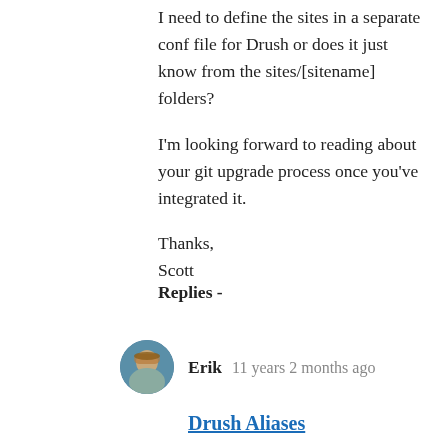I need to define the sites in a separate conf file for Drush or does it just know from the sites/[sitename] folders?
I'm looking forward to reading about your git upgrade process once you've integrated it.
Thanks,
Scott
Replies -
Erik   11 years 2 months ago
Drush Aliases
Drush has the ability to shortcut the multitude of parameters that you need to